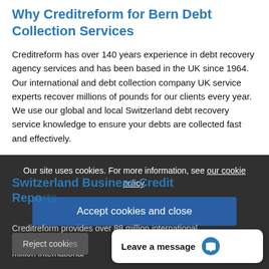Why Creditreform for Bern Debt Collection Services
Creditreform has over 140 years experience in debt recovery agency services and has been based in the UK since 1964. Our international and debt collection company UK service experts recover millions of pounds for our clients every year. We use our global and local Switzerland debt recovery service knowledge to ensure your debts are collected fast and effectively.
Our site uses cookies. For more information, see our cookie policy.
Accept cookies and close
Switzerland Business Credit Reports
Creditreform provides over 88 million international business... million international
Reject cookies
Leave a message